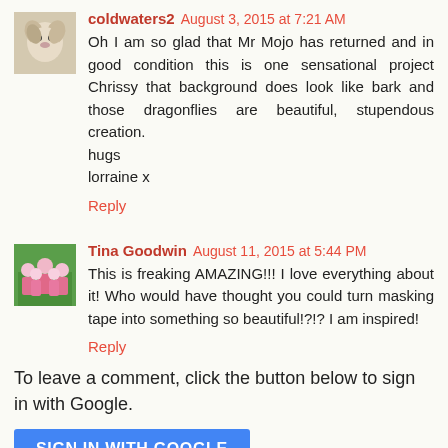[Figure (photo): Avatar photo of a dog (Jack Russell terrier) for user coldwaters2]
coldwaters2 August 3, 2015 at 7:21 AM
Oh I am so glad that Mr Mojo has returned and in good condition this is one sensational project Chrissy that background does look like bark and those dragonflies are beautiful, stupendous creation.
hugs
lorraine x
Reply
[Figure (photo): Avatar photo of a group of people in pink shirts for user Tina Goodwin]
Tina Goodwin August 11, 2015 at 5:44 PM
This is freaking AMAZING!!! I love everything about it! Who would have thought you could turn masking tape into something so beautiful!?!? I am inspired!
Reply
To leave a comment, click the button below to sign in with Google.
SIGN IN WITH GOOGLE